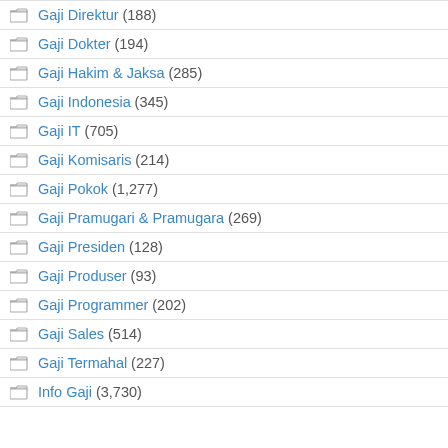Gaji Direktur (188)
Gaji Dokter (194)
Gaji Hakim & Jaksa (285)
Gaji Indonesia (345)
Gaji IT (705)
Gaji Komisaris (214)
Gaji Pokok (1,277)
Gaji Pramugari & Pramugara (269)
Gaji Presiden (128)
Gaji Produser (93)
Gaji Programmer (202)
Gaji Sales (514)
Gaji Termahal (227)
Info Gaji (3,730)